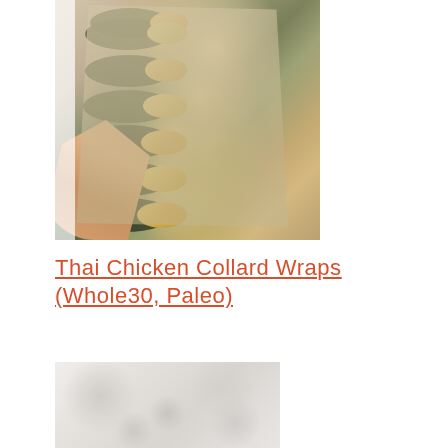[Figure (photo): Overhead view of Thai chicken collard wraps arranged in a tray lined with parchment paper, held by a hand from below. The wraps show dark green collard leaves filled with colorful ingredients.]
Thai Chicken Collard Wraps (Whole30, Paleo)
[Figure (photo): Partial view of a light-colored marble or stone surface, bottom of page.]